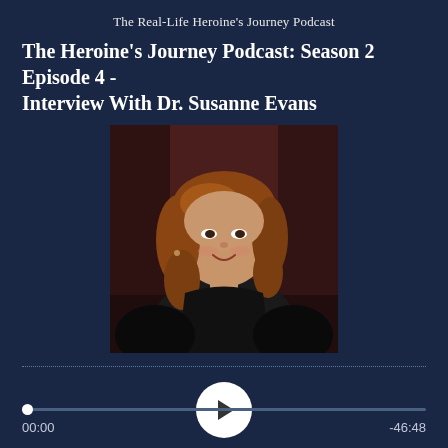The Real-Life Heroine's Journey Podcast
The Heroine's Journey Podcast: Season 2 Episode 4 - Interview With Dr. Susanne Evans
[Figure (photo): Portrait photo of Dr. Susanne Evans, a woman with shoulder-length reddish-brown hair wearing a black top, smiling, against a dark reddish-brown background.]
[Figure (screenshot): Podcast audio player UI with dotted progress track, white circular play button with dark play triangle, scrubber bar with white dot at start, timestamp 00:00 on left and -46:48 on right.]